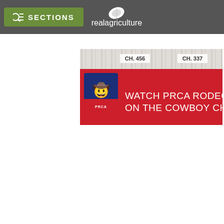SECTIONS | realagriculture
[Figure (screenshot): PRCA rodeo advertisement banner. Top portion shows two channel numbers: CH. 456 and CH. 337 on a light background with vertical stripe pattern. Main banner is red with PRCA logo on left (blue and red shield with rodeo rider) and white text reading 'WATCH PRCA RODEOS LIVE ON THE COWBOY CHANNEL'.]